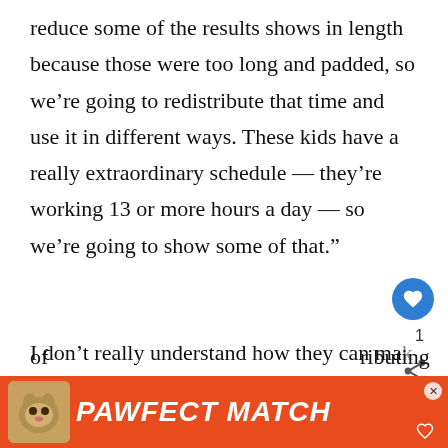reduce some of the results shows in length because those were too long and padded, so we’re going to redistribute that time and use it in different ways. These kids have a really extraordinary schedule — they’re working 13 or more hours a day — so we’re going to show some of that.”
I don’t really understand how they can make the results shows shorter; there’s no… is going to have them be 30 minutes instead of… ributing th…
[Figure (other): PAWFECT MATCH advertisement banner with cat image]